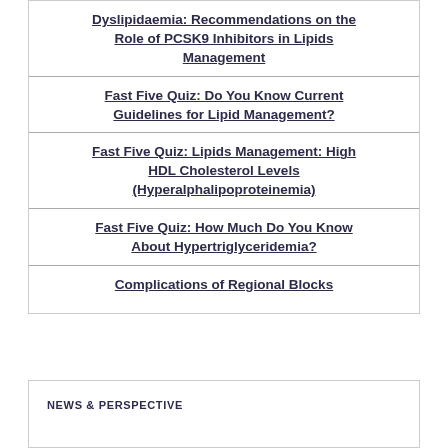Dyslipidaemia: Recommendations on the Role of PCSK9 Inhibitors in Lipids Management
Fast Five Quiz: Do You Know Current Guidelines for Lipid Management?
Fast Five Quiz: Lipids Management: High HDL Cholesterol Levels (Hyperalphalipoproteinemia)
Fast Five Quiz: How Much Do You Know About Hypertriglyceridemia?
Complications of Regional Blocks
NEWS & PERSPECTIVE